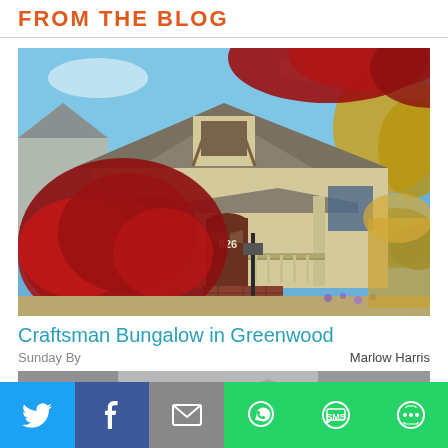FROM THE BLOG
[Figure (photo): Craftsman bungalow house with red Japanese maple in foreground, tan/cream siding, covered porch, brick base, number 926, autumn foliage, blue sky]
Craftsman Bungalow in Greenwood
Sunday By   Marlow Harris
[Figure (photo): Partial thumbnail of another house/property, grey tones, partially visible at bottom of page]
[Figure (infographic): Social share bar with Twitter, Facebook, Email, WhatsApp, SMS, and More buttons]